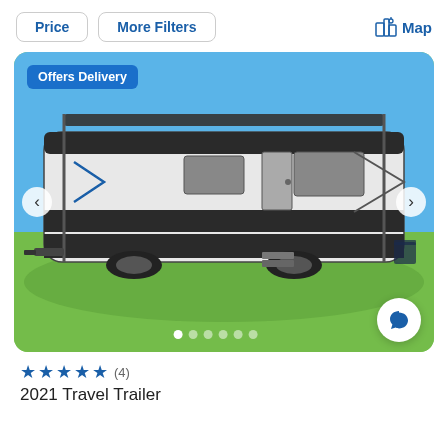Price | More Filters | Map
[Figure (photo): Photo of a 2021 travel trailer (RV) parked on green grass under a blue sky, with an awning extended. Badge reads 'Offers Delivery'. Navigation arrows visible on left and right. Dot indicators at the bottom show multiple photos.]
★★★★★ (4)
2021 Travel Trailer